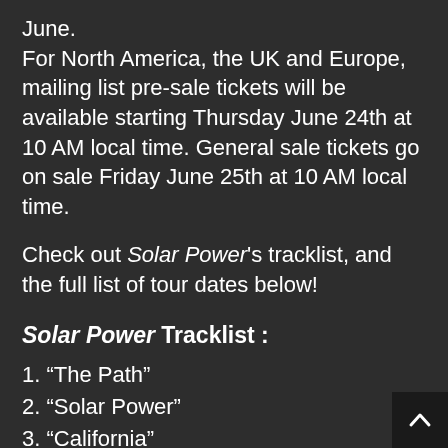June.
For North America, the UK and Europe, mailing list pre-sale tickets will be available starting Thursday June 24th at 10 AM local time. General sale tickets go on sale Friday June 25th at 10 AM local time.
Check out Solar Power's tracklist, and the full list of tour dates below!
Solar Power Tracklist :
1. “The Path”
2. “Solar Power”
3. “California”
4. “Stoned in the Nail Salon”
5. “Fallen Fruit”
6. “Secrets From a Girl (Who’s Seen It All)”
7. “The Man with An Axe”
8. “Dominoes”